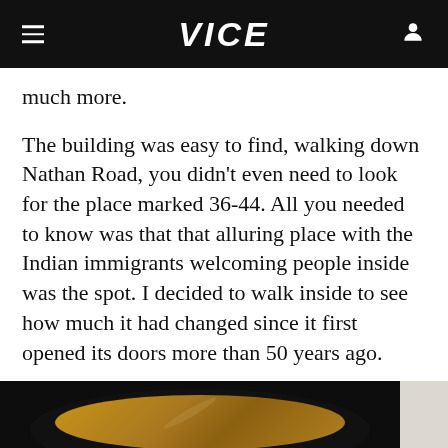VICE
much more.
The building was easy to find, walking down Nathan Road, you didn't even need to look for the place marked 36-44. All you needed to know was that that alluring place with the Indian immigrants welcoming people inside was the spot. I decided to walk inside to see how much it had changed since it first opened its doors more than 50 years ago.
[Figure (photo): A bowl of soup or curry, dark-rimmed bowl, with a brownish-orange liquid and some noodles or meat visible, partially cropped. A white-clothed person is visible on the right edge.]